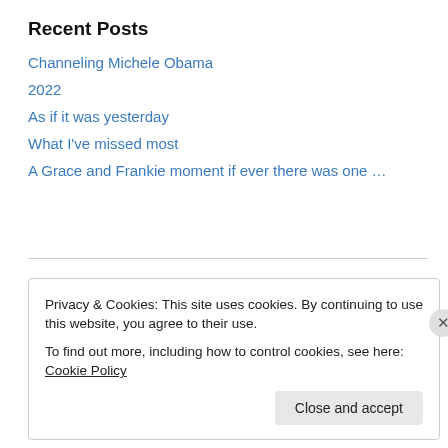Recent Posts
Channeling Michele Obama
2022
As if it was yesterday
What I've missed most
A Grace and Frankie moment if ever there was one …
Archives
Select Month
Privacy & Cookies: This site uses cookies. By continuing to use this website, you agree to their use.
To find out more, including how to control cookies, see here: Cookie Policy
Close and accept